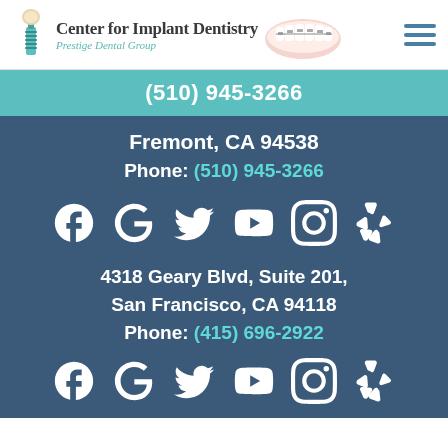[Figure (logo): Center for Implant Dentistry - Prestige Dental Group logo with dental implant icon and teeth image]
(510) 945-3266
Fremont, CA 94538
Phone: (510) 945-3266
[Figure (other): Social media icons row: Facebook, Google, Twitter, YouTube, Instagram, Yelp]
4318 Geary Blvd, Suite 201,
San Francisco, CA 94118
Phone: (415) 696-2922
[Figure (other): Social media icons row: Facebook, Google, Twitter, YouTube, Instagram, Yelp]